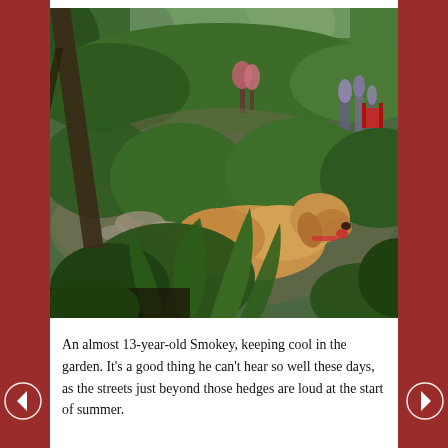[Figure (photo): A golden retriever dog (Smokey) lying down and resting among lush green garden plants, shrubs, and flowers. The garden is well-planted with various greenery, and trees are visible in the background.]
An almost 13-year-old Smokey, keeping cool in the garden. It's a good thing he can't hear so well these days, as the streets just beyond those hedges are loud at the start of summer.